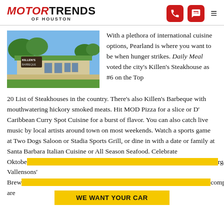MOTOR TRENDS OF HOUSTON
[Figure (photo): Exterior photo of Killen's Barbeque restaurant with sign visible, green lawn and clear sky]
With a plethora of international cuisine options, Pearland is where you want to be when hunger strikes. Daily Meal voted the city's Killen's Steakhouse as #6 on the Top 20 List of Steakhouses in the country. There's also Killen's Barbeque with mouthwatering hickory smoked meats. Hit MOD Pizza for a slice or D' Caribbean Curry Spot Cuisine for a burst of flavor. You can also catch live music by local artists around town on most weekends. Watch a sports game at Two Dogs Saloon or Stadia Sports Grill, or dine in with a date or family at Santa Barbara Italian Cuisine or All Season Seafood. Celebrate Oktobe... garten. Vallensons' Brew... company are
WE WANT YOUR CAR